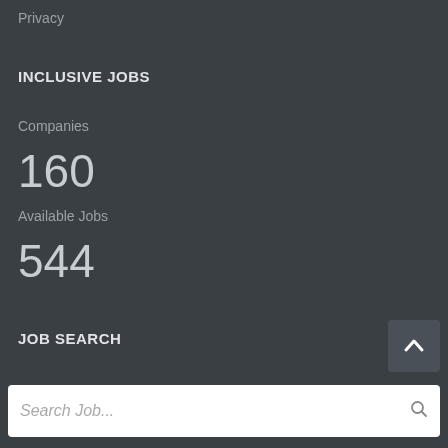Privacy
INCLUSIVE JOBS
Companies
160
Available Jobs
544
JOB SEARCH
[Figure (other): Scroll-to-top button with upward chevron arrow on dark background]
Search Job...